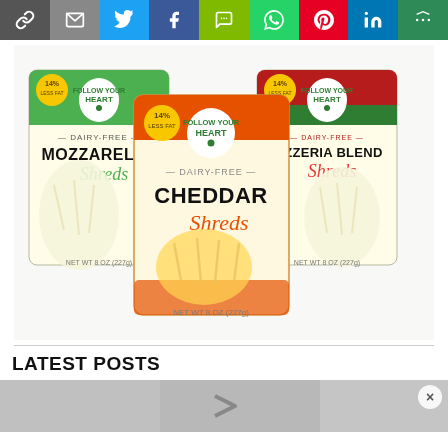[Figure (other): Social sharing bar with icons: link/copy, email, Twitter, Facebook, SMS, WhatsApp, Pinterest, LinkedIn, More]
[Figure (photo): Three Follow Your Heart dairy-free cheese shred packages: Mozzarella Shreds (green/white bag), Cheddar Shreds (orange bag, center foreground), and Pizzeria Blend Shreds (red/green bag). All bags feature the Follow Your Heart heart-shaped logo and '14%' callout badges.]
LATEST POSTS
[Figure (photo): Bottom strip showing a partially visible food/recipe image in gray tones with a play button arrow icon, and a close (x) button circle in the top-right corner.]